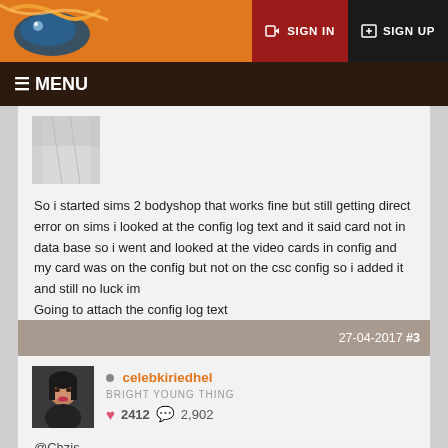≡ MENU    SIGN IN  SIGN UP
[Figure (photo): Partial avatar image (fabric/cloth texture), cropped at top]
So i started sims 2 bodyshop that works fine but still getting direct error on sims i looked at the config log text and it said card not in data base so i went and looked at the video cards in config and my card was on the config but not on the csc config so i added it and still no luck im
Going to attach the config log text
27-04-2017 #3
[Figure (photo): User avatar for celebkiriedhel - stylized portrait]
● celebkiriedhel
BRIGHT YOUNG THING
❤ 2412  💬 2,902
@Chzis
You need to install these two files